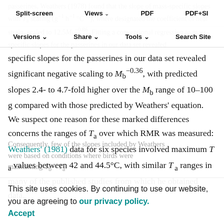Split-screen | Views | PDF | PDF+SI | Versions | Share | Tools | Search Site
specific slopes with T_a, scaling (g^-1 h^-1 °C^-3), where designated the coefficient of heat strain, scaled to 12.5M_b^-0.86. Fitting a conventional regression to mass-specific slopes for the passerines in our data set revealed significant negative scaling to M_b^-0.36, with predicted slopes 2.4- to 4.7-fold higher over the M_b range of 10–100 g compared with those predicted by Weathers' equation. We suspect one reason for these marked differences concerns the ranges of T_a over which RMR was measured: Weathers' (1981) data for six species involved maximum T_a values between 42 and 44.5°C, with similar T_a ranges in many of the published studies from which he obtained data.
Consequently, few of the slopes included by Weathers were based on conditions where birds were maintaining T_b < T_a.
This site uses cookies. By continuing to use our website, you are agreeing to our privacy policy. Accept